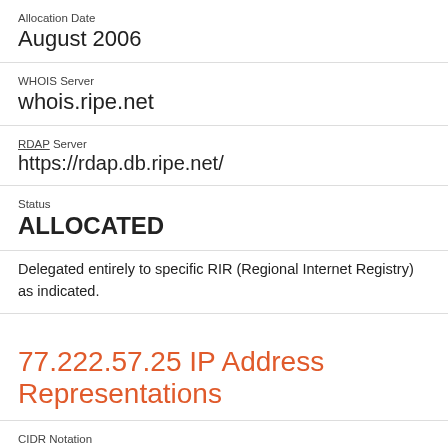Allocation Date
August 2006
WHOIS Server
whois.ripe.net
RDAP Server
https://rdap.db.ripe.net/
Status
ALLOCATED
Delegated entirely to specific RIR (Regional Internet Registry) as indicated.
77.222.57.25 IP Address Representations
CIDR Notation
77.222.57.25/32
Decimal Notation
1306402241